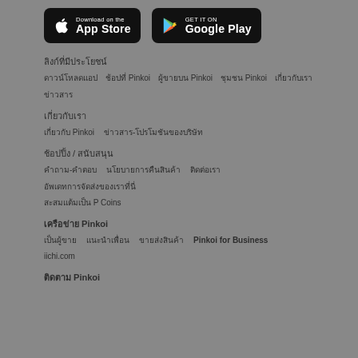[Figure (screenshot): App store download buttons: 'Download on the App Store' (Apple) and 'GET IT ON Google Play' (Google), both with black background and rounded corners]
ดาวน์โหลด Pinkoi App
ลิงก์ที่มีประโยชน์  ดาวน์โหลดแอป  ช้อปที่ Pinkoi  ผู้ขายบน Pinkoi  ชุมชน Pinkoi  เกี่ยวกับเรา  ข่าวสาร
เกี่ยวกับเรา
เกี่ยวกับ Pinkoi  ข่าวสาร-โปรโมชันของบริษัท
ช้อปปิ้ง / สนับสนุน
คำถาม-คำตอบ  นโยบายการคืนสินค้า  ติดต่อเรา  อัพเดทการจัดส่งของเราที่นี่
สะสมแต้มเป็น P Coins
เครือข่าย Pinkoi
เป็นผู้ขาย  แนะนำเพื่อน  ขายส่งสินค้า  Pinkoi for Business
iichi.com
ติดตาม Pinkoi